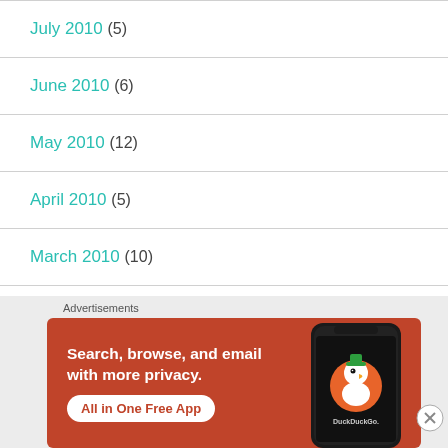July 2010 (5)
June 2010 (6)
May 2010 (12)
April 2010 (5)
March 2010 (10)
February 2010 (9)
[Figure (screenshot): DuckDuckGo advertisement banner: 'Search, browse, and email with more privacy. All in One Free App' with DuckDuckGo logo on a phone graphic, orange background]